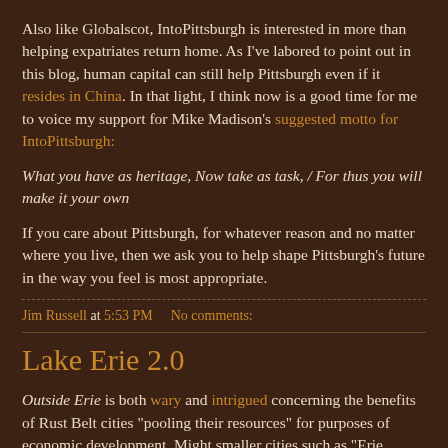Also like Globalscot, IntoPittsburgh is interested in more than helping expatriates return home. As I've labored to point out in this blog, human capital can still help Pittsburgh even if it resides in China. In that light, I think now is a good time for me to voice my support for Mike Madison's suggested motto for IntoPittsburgh:
What you have as heritage, Now take as task, / For thus you will make it your own
If you care about Pittsburgh, for whatever reason and no matter where you live, then we ask you to help shape Pittsburgh's future in the way you feel is most appropriate.
Jim Russell at 5:53 PM    No comments:
Lake Erie 2.0
Outside Erie is both wary and intrigued concerning the benefits of Rust Belt cities "pooling their resources" for purposes of economic development. Might smaller cities such as "Erie, Youngstown, and